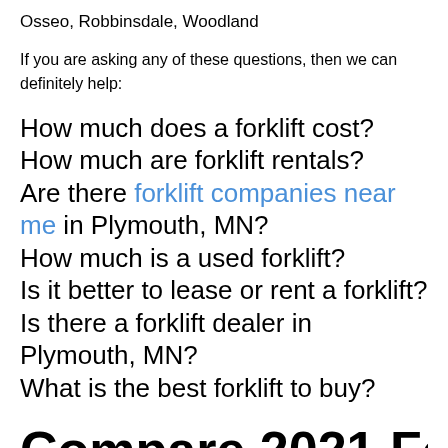Osseo, Robbinsdale, Woodland
If you are asking any of these questions, then we can definitely help:
How much does a forklift cost?
How much are forklift rentals?
Are there forklift companies near me in Plymouth, MN?
How much is a used forklift?
Is it better to lease or rent a forklift?
Is there a forklift dealer in Plymouth, MN?
What is the best forklift to buy?
Compare 2021 Forklift